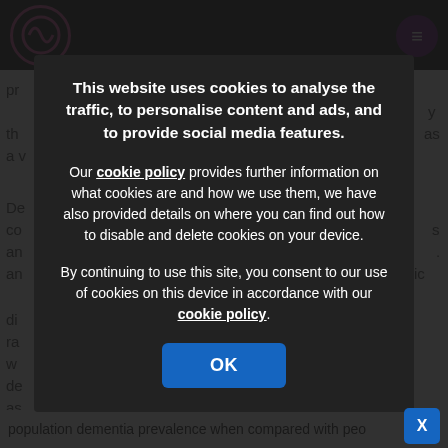[Figure (screenshot): Website cookie consent modal overlay on a dark semi-transparent background. The modal contains a bold title about cookie usage, a paragraph about cookie policy with a link, a paragraph about consent with a cookie policy link, and an OK button. The background shows partial website content.]
This website uses cookies to analyse the traffic, to personalise content and ads, and to provide social media features.
Our cookie policy provides further information on what cookies are and how we use them, we have also provided details on where you can find out how to disable and delete cookies on your device.
By continuing to use this site, you consent to our use of cookies on this device in accordance with our cookie policy.
OK
population dementia prevalence when compared with peo